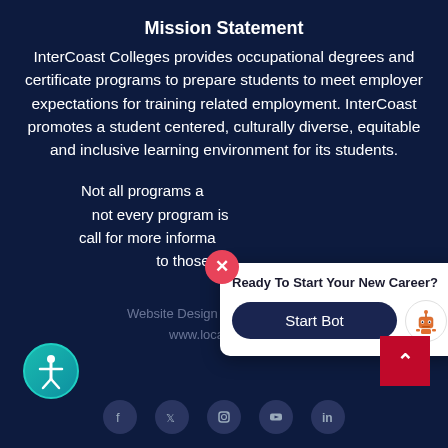Mission Statement
InterCoast Colleges provides occupational degrees and certificate programs to prepare students to meet employer expectations for training related employment. InterCoast promotes a student centered, culturally diverse, equitable and inclusive learning environment for its students.
Not all programs a... not every program is... call for more informa... to those... (partially obscured by popup)
[Figure (screenshot): Chatbot popup overlay with 'Ready To Start Your New Career?' header and 'Start Bot' button, with robot icon and pink close button]
Website Design and Marketing by www.localfinder.biz
[Figure (logo): Accessibility icon - teal circle with person figure]
[Figure (other): Social media icons row: Facebook, Twitter, Instagram, YouTube, LinkedIn]